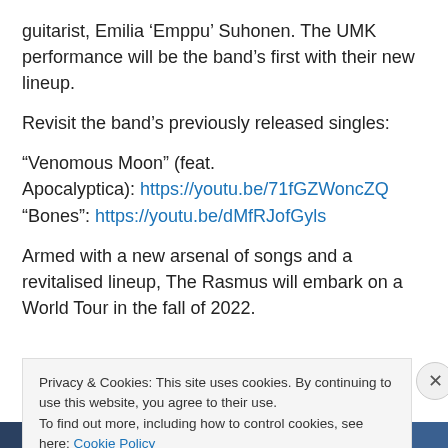guitarist, Emilia ‘Emppu’ Suhonen. The UMK performance will be the band’s first with their new lineup.
Revisit the band’s previously released singles:
“Venomous Moon” (feat. Apocalyptica): https://youtu.be/71fGZWoncZQ
“Bones”: https://youtu.be/dMfRJofGyls
Armed with a new arsenal of songs and a revitalised lineup, The Rasmus will embark on a World Tour in the fall of 2022.
Privacy & Cookies: This site uses cookies. By continuing to use this website, you agree to their use.
To find out more, including how to control cookies, see here: Cookie Policy